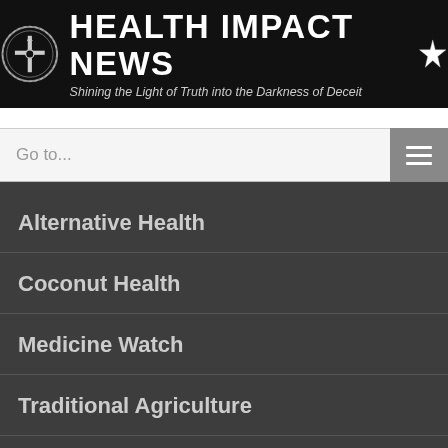[Figure (logo): Health Impact News banner with circular cross logo on left, bold white text 'HEALTH IMPACT NEWS' in center, star icon on right, italic subtitle 'Shining the Light of Truth into the Darkness of Deceit', black background]
Go to...
Alternative Health
Coconut Health
Medicine Watch
Traditional Agriculture
Created4Health
THE HEALTH IMPACT NEWS NETWORK
Health Impact News